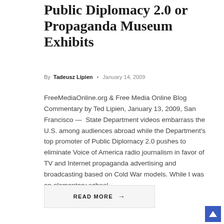Public Diplomacy 2.0 or Propaganda Museum Exhibits
By Tadeusz Lipien • January 14, 2009
FreeMediaOnline.org & Free Media Online Blog Commentary by Ted Lipien, January 13, 2009, San Francisco — State Department videos embarrass the U.S. among audiences abroad while the Department's top promoter of Public Diplomacy 2.0 pushes to eliminate Voice of America radio journalism in favor of TV and Internet propaganda advertising and broadcasting based on Cold War models. While I was an elementary school…
READ MORE →